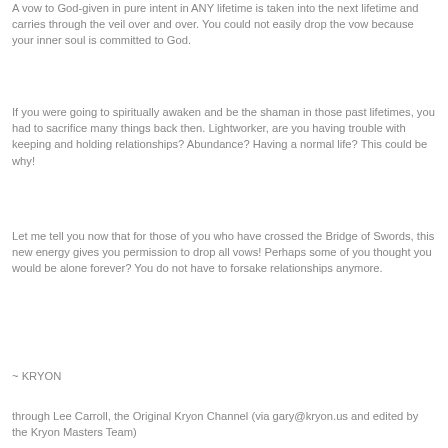A vow to God-given in pure intent in ANY lifetime is taken into the next lifetime and carries through the veil over and over. You could not easily drop the vow because your inner soul is committed to God.
If you were going to spiritually awaken and be the shaman in those past lifetimes, you had to sacrifice many things back then. Lightworker, are you having trouble with keeping and holding relationships? Abundance? Having a normal life? This could be why!
Let me tell you now that for those of you who have crossed the Bridge of Swords, this new energy gives you permission to drop all vows! Perhaps some of you thought you would be alone forever? You do not have to forsake relationships anymore.
~ KRYON
through Lee Carroll, the Original Kryon Channel (via gary@kryon.us and edited by the Kryon Masters Team)